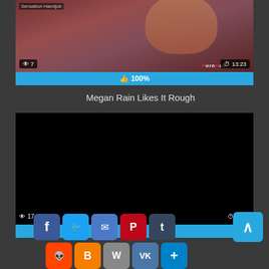[Figure (screenshot): Video thumbnail showing a person, with view count '7' on bottom left and duration '13:23' on bottom right, with a title overlay 'Sensation Handjob']
👍 100%
Megan Rain Likes It Rough
[Figure (screenshot): Black video player thumbnail with view count '17' on bottom left and duration '14:59' on bottom right]
Social sharing buttons: Facebook, Twitter, Email, Pinterest, Tumblr, scroll-to-top, Reddit, Blogger, WordPress, VK, More